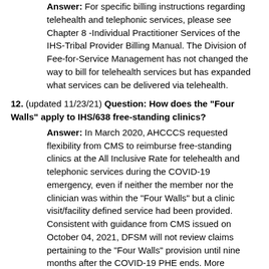Answer: For specific billing instructions regarding telehealth and telephonic services, please see Chapter 8 -Individual Practitioner Services of the IHS-Tribal Provider Billing Manual. The Division of Fee-for-Service Management has not changed the way to bill for telehealth services but has expanded what services can be delivered via telehealth.
12. (updated 11/23/21) Question: How does the "Four Walls" apply to IHS/638 free-standing clinics?
Answer: In March 2020, AHCCCS requested flexibility from CMS to reimburse free-standing clinics at the All Inclusive Rate for telehealth and telephonic services during the COVID-19 emergency, even if neither the member nor the clinician was within the "Four Walls" but a clinic visit/facility defined service had been provided. Consistent with guidance from CMS issued on October 04, 2021, DFSM will not review claims pertaining to the "Four Walls" provision until nine months after the COVID-19 PHE ends. More information from CMS can be found in the CIB Informational Bulletin - Four Walls.
13. (updated 3/31/20) Question: Can physician interns and residents provide telehealth services to AHCCCS members?
Answer: AHCCCS reimburses for telehealth services